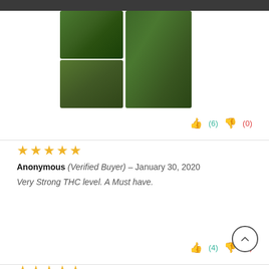[Figure (photo): Two cannabis plant photos arranged in a 2x1 grid on the left and one tall photo on the right]
(6) thumbs up, (0) thumbs down
Anonymous (Verified Buyer) – January 30, 2020
Very Strong THC level. A Must have.
(4) thumbs up, (0) thumbs down
Anonymous – October 29, 2019
All the Topanga gear is ill. Some of the frostiest og blends ever. Wish I could get